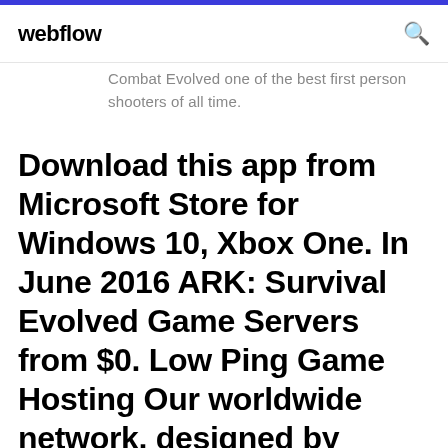webflow
Combat Evolved one of the best first person shooters of all time.
Download this app from Microsoft Store for Windows 10, Xbox One. In June 2016 ARK: Survival Evolved Game Servers from $0. Low Ping Game Hosting Our worldwide network, designed by gamers for gamers, offers fastest way to lvl up early game pvp Starting out Solo solo